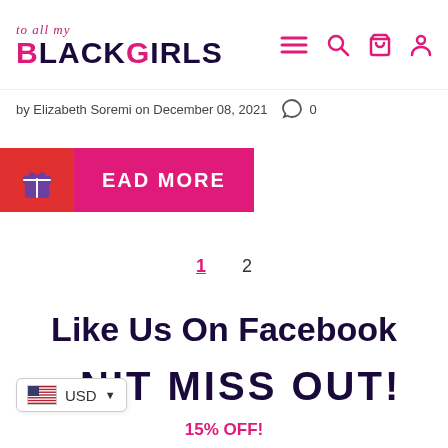to all my BLACKGIRLS
by Elizabeth Soremi on December 08, 2021   0
READ MORE
1  2
Like Us On Facebook
USD  NIT MISS OUT!  15% OFF!